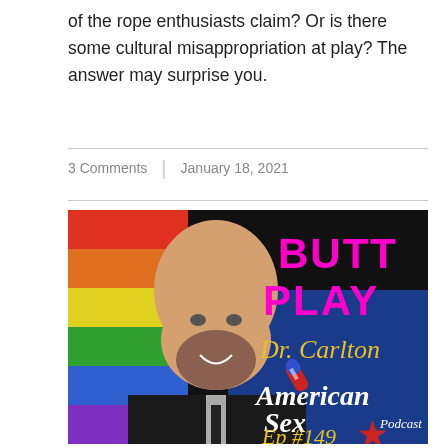of the rope enthusiasts claim? Or is there some cultural misappropriation at play? The answer may surprise you.
3 Comments  |  January 18, 2021
[Figure (photo): Podcast cover art for American Sex Podcast Episode #149 featuring Dr. Carlton. Shows a bald smiling man with beard in a suit against a rainbow flag and blue background. Text overlay reads BUTT PLAY in magenta, Dr. Carlton in gold script, American Sex Podcast in white script with red star, Ep #149 in gold script. A microphone graphic is also shown.]